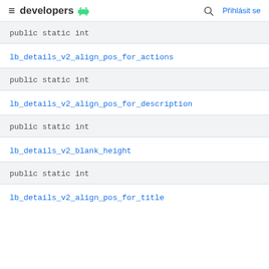developers
public static int
lb_details_v2_align_pos_for_actions
public static int
lb_details_v2_align_pos_for_description
public static int
lb_details_v2_blank_height
public static int
lb_details_v2_align_pos_for_title (truncated)